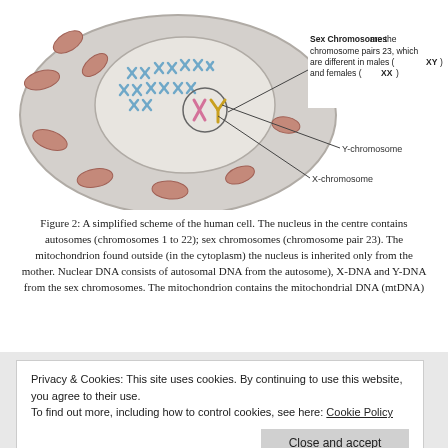[Figure (illustration): Simplified scheme of a human cell showing the nucleus with autosomes (blue chromosome pairs) and sex chromosomes (X in pink, Y in yellow), surrounded by mitochondria (brown bean shapes) in the cytoplasm. Annotation lines point to Y-chromosome and X-chromosome. A text box labels Sex Chromosomes as chromosome pairs 23, different in males (XY) and females (XX).]
Figure 2: A simplified scheme of the human cell. The nucleus in the centre contains autosomes (chromosomes 1 to 22); sex chromosomes (chromosome pair 23). The mitochondrion found outside (in the cytoplasm) the nucleus is inherited only from the mother. Nuclear DNA consists of autosomal DNA from the autosome), X-DNA and Y-DNA from the sex chromosomes. The mitochondrion contains the mitochondrial DNA (mtDNA)
Privacy & Cookies: This site uses cookies. By continuing to use this website, you agree to their use.
To find out more, including how to control cookies, see here: Cookie Policy